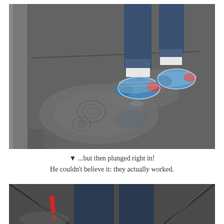[Figure (photo): Photo of a person's feet wearing colorful sneakers wrapped in clear plastic bags, stepping into a rain puddle on a wet sidewalk. Ripples visible in the puddle.]
▼ ...but then plunged right in!
He couldn't believe it: they actually worked.
[Figure (photo): Bottom partial photo showing legs in dark jeans standing on a wet surface with a red exclamation mark graphic overlay, viewed from an angle.]